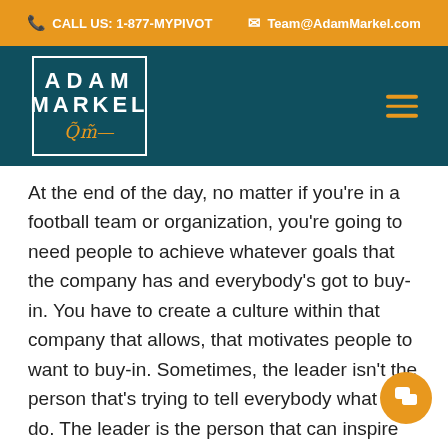CALL US: 1-877-MYPIVOT   Team@AdamMarkel.com
[Figure (logo): Adam Markel logo on teal background with hamburger menu icon]
At the end of the day, no matter if you're in a football team or organization, you're going to need people to achieve whatever goals that the company has and everybody's got to buy-in. You have to create a culture within that company that allows, that motivates people to want to buy-in. Sometimes, the leader isn't the person that's trying to tell everybody what to do. The leader is the person that can inspire everybody to believe in the same goal, to set the same priorities.